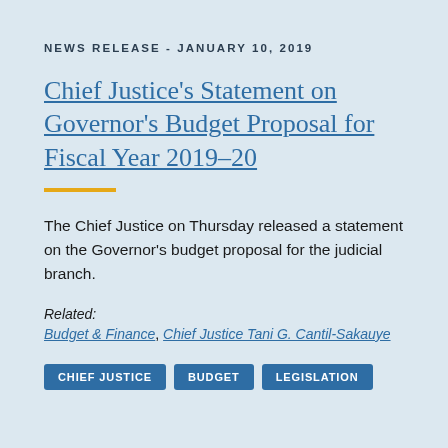NEWS RELEASE - JANUARY 10, 2019
Chief Justice's Statement on Governor's Budget Proposal for Fiscal Year 2019–20
The Chief Justice on Thursday released a statement on the Governor's budget proposal for the judicial branch.
Related:
Budget & Finance, Chief Justice Tani G. Cantil-Sakauye
CHIEF JUSTICE
BUDGET
LEGISLATION